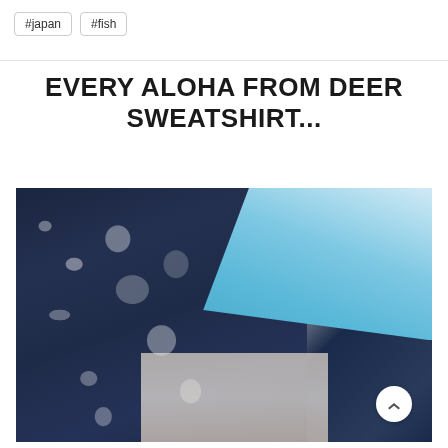#japan
#fish
EVERY ALOHA FROM DEER SWEATSHIRT...
[Figure (photo): Close-up photo of a folded garment showing a dark navy/white abstract print fabric next to a solid light blue/teal fabric panel, likely the sweatshirt referenced in the title.]